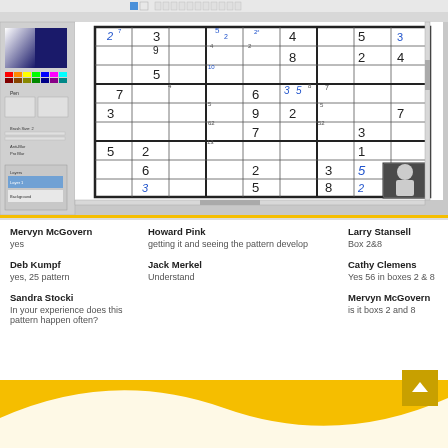[Figure (screenshot): Screenshot of a paint/drawing application showing a partially solved Sudoku puzzle. The sudoku grid has numbers filled in black (given) and blue (candidate notes). A webcam thumbnail of a person is visible in the bottom right corner. A color palette toolbar is on the left side.]
Mervyn McGovern
yes
Howard Pink
getting it and seeing the pattern develop
Larry Stansell
Box 2&8
Deb Kumpf
yes, 25 pattern
Jack Merkel
Understand
Cathy Clemens
Yes 56 in boxes 2 & 8
Sandra Stocki
In your experience does this pattern happen often?
Mervyn McGovern
is it boxs 2 and 8